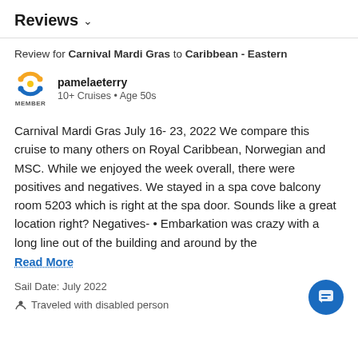Reviews
Review for Carnival Mardi Gras to Caribbean - Eastern
pamelaeterry
10+ Cruises • Age 50s
Carnival Mardi Gras July 16- 23, 2022 We compare this cruise to many others on Royal Caribbean, Norwegian and MSC. While we enjoyed the week overall, there were positives and negatives. We stayed in a spa cove balcony room 5203 which is right at the spa door. Sounds like a great location right? Negatives- • Embarkation was crazy with a long line out of the building and around by the
Read More
Sail Date: July 2022
Traveled with disabled person